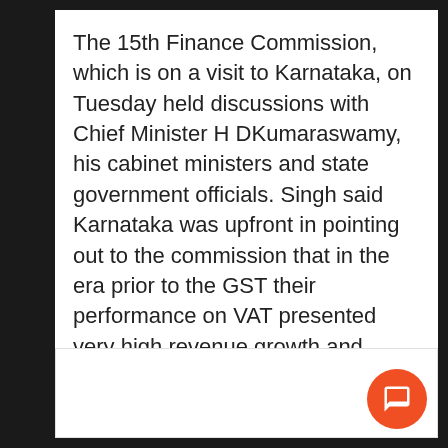The 15th Finance Commission, which is on a visit to Karnataka, on Tuesday held discussions with Chief Minister H DKumaraswamy, his cabinet ministers and state government officials. Singh said Karnataka was upfront in pointing out to the commission that in the era prior to the GST their performance on VAT presented very high revenue growth and thishad got somewhat halted after the application of GST.